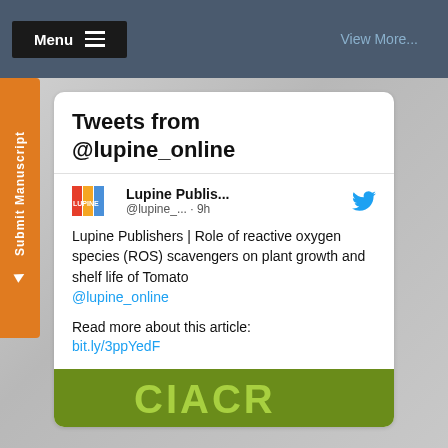Menu   View More...
Tweets from @lupine_online
Lupine Publis... @lupine_... · 9h
Lupine Publishers | Role of reactive oxygen species (ROS) scavengers on plant growth and shelf life of Tomato @lupine_online
Read more about this article: bit.ly/3ppYedF
[Figure (logo): CIACR green banner logo at bottom of tweet card]